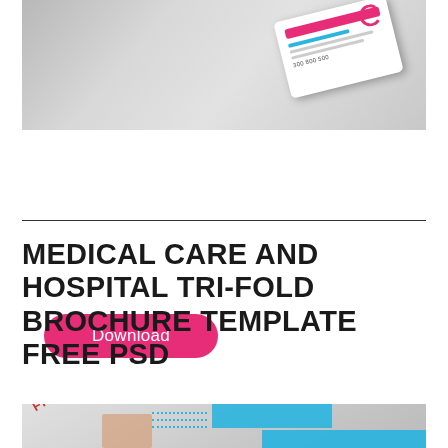[Figure (photo): Top image showing a medical/business card mockup on a silver/grey gradient background with a white card featuring pink and blue design elements, rotated at an angle]
Download
[Figure (photo): Bottom image showing a medical care and hospital tri-fold brochure mockup with FREE PSD stamp in red, blue header panel with white text, dotted lines, and MEDICARE branding on a light grey background]